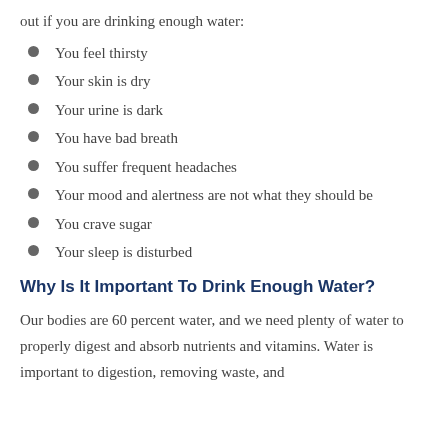out if you are drinking enough water:
You feel thirsty
Your skin is dry
Your urine is dark
You have bad breath
You suffer frequent headaches
Your mood and alertness are not what they should be
You crave sugar
Your sleep is disturbed
Why Is It Important To Drink Enough Water?
Our bodies are 60 percent water, and we need plenty of water to properly digest and absorb nutrients and vitamins. Water is important to digestion, removing waste, and